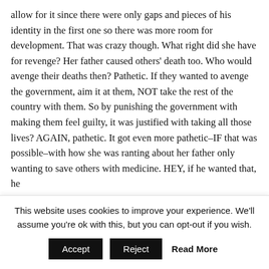allow for it since there were only gaps and pieces of his identity in the first one so there was more room for development. That was crazy though. What right did she have for revenge? Her father caused others' death too. Who would avenge their deaths then? Pathetic. If they wanted to avenge the government, aim it at them, NOT take the rest of the country with them. So by punishing the government with making them feel guilty, it was justified with taking all those lives? AGAIN, pathetic. It got even more pathetic–IF that was possible–with how she was ranting about her father only wanting to save others with medicine. HEY, if he wanted that, he
This website uses cookies to improve your experience. We'll assume you're ok with this, but you can opt-out if you wish.